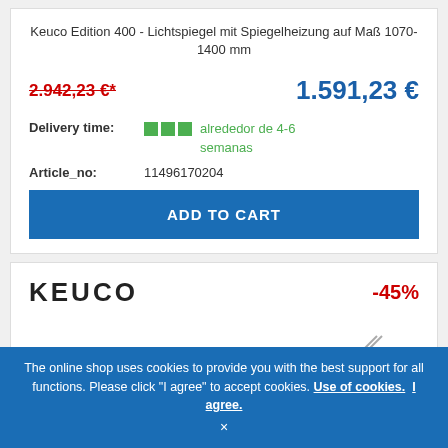Keuco Edition 400 - Lichtspiegel mit Spiegelheizung auf Maß 1070-1400 mm
2.942,23 €* (old price, strikethrough) | 1.591,23 € (new price)
Delivery time: alrededor de 4-6 semanas
Article_no: 11496170204
ADD TO CART (button)
[Figure (logo): KEUCO brand logo in bold black text, with -45% discount badge in red on the right]
The online shop uses cookies to provide you with the best support for all functions. Please click "I agree" to accept cookies. Use of cookies. I agree. ×